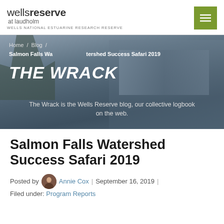wells reserve at laudholm — WELLS NATIONAL ESTUARINE RESEARCH RESERVE
[Figure (photo): Hero banner with background photo of Laudholm house/estate in misty blue tones. Overlaid with breadcrumb navigation, THE WRACK blog title, and description text.]
Home / Blog /
Salmon Falls Watershed Success Safari 2019
THE WRACK
The Wrack is the Wells Reserve blog, our collective logbook on the web.
Salmon Falls Watershed Success Safari 2019
Posted by Annie Cox | September 16, 2019 |
Filed under: Program Reports